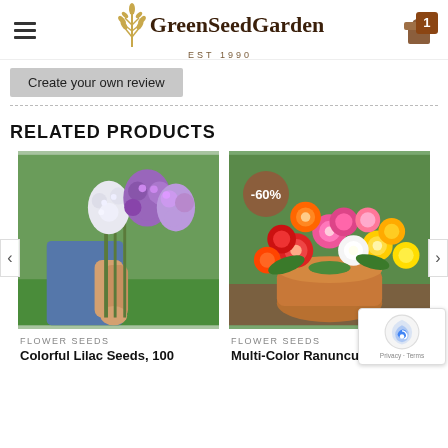GreenSeedGarden EST 1990
Create your own review
RELATED PRODUCTS
[Figure (photo): Person holding a bouquet of purple and white lilac flowers outdoors]
FLOWER SEEDS
Colorful Lilac Seeds, 100
[Figure (photo): Colorful ranunculus flowers in a basket, -60% discount badge visible]
FLOWER SEEDS
Multi-Color Ranunculus